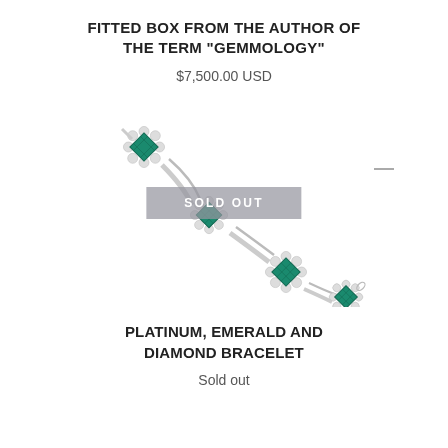FITTED BOX FROM THE AUTHOR OF THE TERM "GEMMOLOGY"
$7,500.00 USD
[Figure (photo): A platinum, emerald and diamond bracelet photographed diagonally on a white background, featuring four square emerald stones each surrounded by a halo of diamonds, connected by platinum links. A gray 'SOLD OUT' overlay banner is placed across the center of the image.]
PLATINUM, EMERALD AND DIAMOND BRACELET
Sold out